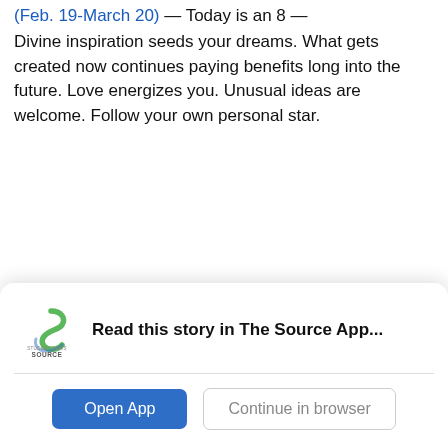(Feb. 19-March 20) — Today is an 8 — Divine inspiration seeds your dreams. What gets created now continues paying benefits long into the future. Love energizes you. Unusual ideas are welcome. Follow your own personal star.
[Figure (screenshot): App install banner for Student News Source app with logo, 'Read this story in The Source App...' text, an 'Open App' button and 'Continue in browser' button]